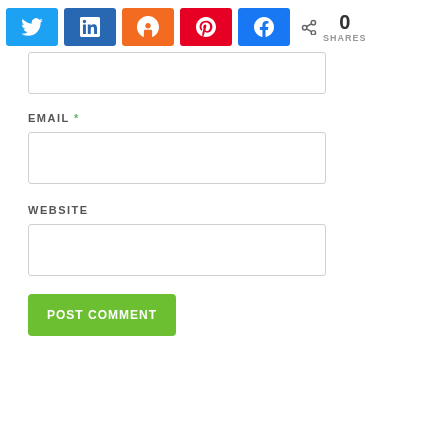[Figure (infographic): Social share buttons row: Twitter (blue), LinkedIn (dark blue), Mix (orange), Pinterest (red), Facebook (blue), and a share count showing 0 SHARES]
EMAIL *
WEBSITE
POST COMMENT